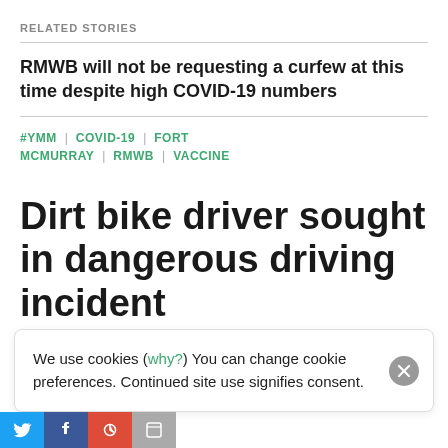RELATED STORIES
RMWB will not be requesting a curfew at this time despite high COVID-19 numbers
#YMM | COVID-19 | FORT MCMURRAY | RMWB | VACCINE
Dirt bike driver sought in dangerous driving incident
We use cookies (why?) You can change cookie preferences. Continued site use signifies consent.